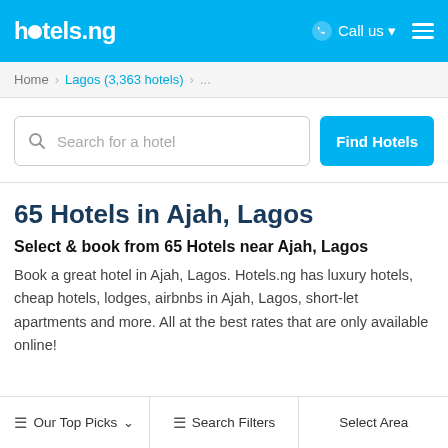hotels.ng  Call us  Menu
Home > Lagos (3,363 hotels) > ...
Search for a hotel  Find Hotels
65 Hotels in Ajah, Lagos
Select & book from 65 Hotels near Ajah, Lagos
Book a great hotel in Ajah, Lagos. Hotels.ng has luxury hotels, cheap hotels, lodges, airbnbs in Ajah, Lagos, short-let apartments and more. All at the best rates that are only available online!
Our Top Picks  Search Filters  Select Area